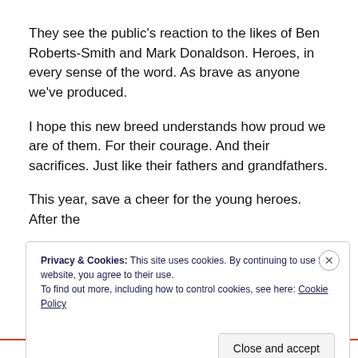They see the public's reaction to the likes of Ben Roberts-Smith and Mark Donaldson. Heroes, in every sense of the word. As brave as anyone we've produced.
I hope this new breed understands how proud we are of them. For their courage. And their sacrifices. Just like their fathers and grandfathers.
This year, save a cheer for the young heroes. After the
Privacy & Cookies: This site uses cookies. By continuing to use this website, you agree to their use.
To find out more, including how to control cookies, see here: Cookie Policy
Close and accept